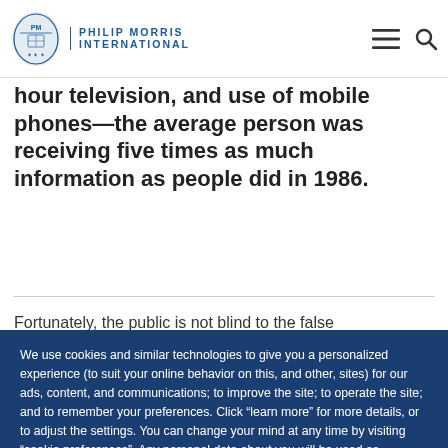Philip Morris International
hour television, and use of mobile phones—the average person was receiving five times as much information as people did in 1986.
Fortunately, the public is not blind to the false
We use cookies and similar technologies to give you a personalized experience (to suit your online behavior on this, and other, sites) for our ads, content, and communications; to improve the site; to operate the site; and to remember your preferences. Click “learn more” for more details, or to adjust the settings. You can change your mind at any time by visiting “cookie preferences”. Any personal data about you will be used as described in our Privacy Notice